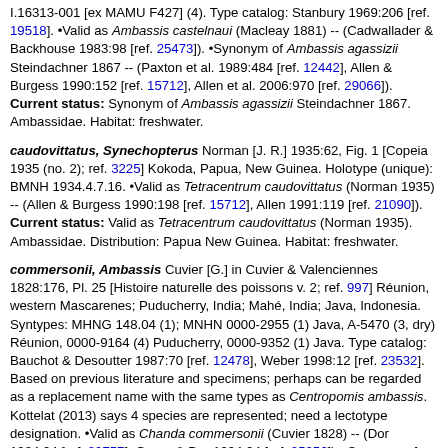I.16313-001 [ex MAMU F427] (4). Type catalog: Stanbury 1969:206 [ref. 19518]. •Valid as Ambassis castelnaui (Macleay 1881) -- (Cadwallader & Backhouse 1983:98 [ref. 25473]). •Synonym of Ambassis agassizii Steindachner 1867 -- (Paxton et al. 1989:484 [ref. 12442], Allen & Burgess 1990:152 [ref. 15712], Allen et al. 2006:970 [ref. 29066]). Current status: Synonym of Ambassis agassizii Steindachner 1867. Ambassidae. Habitat: freshwater.
caudovittatus, Synechopterus Norman [J. R.] 1935:62, Fig. 1 [Copeia 1935 (no. 2); ref. 3225] Kokoda, Papua, New Guinea. Holotype (unique): BMNH 1934.4.7.16. •Valid as Tetracentrum caudovittatus (Norman 1935) -- (Allen & Burgess 1990:198 [ref. 15712], Allen 1991:119 [ref. 21090]). Current status: Valid as Tetracentrum caudovittatus (Norman 1935). Ambassidae. Distribution: Papua New Guinea. Habitat: freshwater.
commersonii, Ambassis Cuvier [G.] in Cuvier & Valenciennes 1828:176, Pl. 25 [Histoire naturelle des poissons v. 2; ref. 997] Réunion, western Mascarenes; Puducherry, India; Mahé, India; Java, Indonesia. Syntypes: MHNG 148.04 (1); MNHN 0000-2955 (1) Java, A-5470 (3, dry) Réunion, 0000-9164 (4) Puducherry, 0000-9352 (1) Java. Type catalog: Bauchot & Desoutter 1987:70 [ref. 12478], Weber 1998:12 [ref. 23532]. Based on previous literature and specimens; perhaps can be regarded as a replacement name with the same types as Centropomis ambassis. Kottelat (2013) says 4 species are represented; need a lectotype designation. •Valid as Chanda commersonii (Cuvier 1828) -- (Dor 1984:94 [ref. 29757], Goren & Dor 1994:24 [ref. 25356]). •Synonym of Ambassis